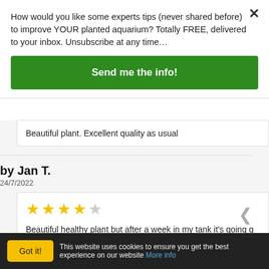How would you like some experts tips (never shared before) to improve YOUR planted aquarium? Totally FREE, delivered to your inbox. Unsubscribe at any time…
Send me the info!
Beautiful plant. Excellent quality as usual
by Jan T.
24/7/2022
[Figure (other): 4 out of 5 stars rating]
Beautiful healthy plant but after a week in my tank it's going g getting enough bright light but if I light the tank more it gets a
Got it!
This website uses cookies to ensure you get the best experience on our website More info